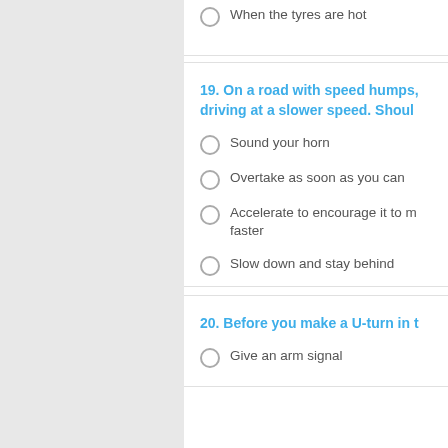When the tyres are hot
19. On a road with speed humps, driving at a slower speed. Shoul
Sound your horn
Overtake as soon as you can
Accelerate to encourage it to move faster
Slow down and stay behind
20. Before you make a U-turn in t
Give an arm signal